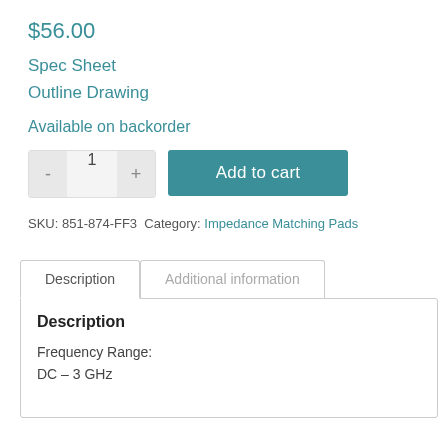$56.00
Spec Sheet
Outline Drawing
Available on backorder
SKU: 851-874-FF3  Category: Impedance Matching Pads
Description
Frequency Range:
DC – 3 GHz